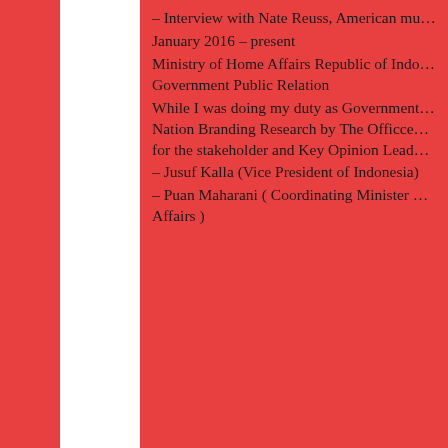– Interview with Nate Reuss, American mu…
January 2016 – present
Ministry of Home Affairs Republic of Indo…
Government Public Relation
While I was doing my duty as Government… Nation Branding Research by The Officce… for the stakeholder and Key Opinion Lead…
– Jusuf Kalla (Vice President of Indonesia)
– Puan Maharani ( Coordinating Minister … Affairs )